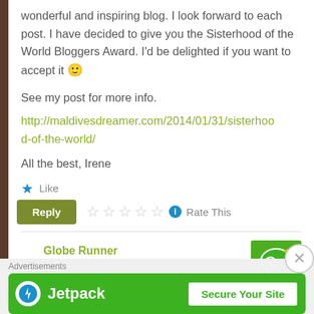wonderful and inspiring blog. I look forward to each post. I have decided to give you the Sisterhood of the World Bloggers Award. I'd be delighted if you want to accept it 🙂
See my post for more info.
http://maldivesdreamer.com/2014/01/31/sisterhood-of-the-world/
All the best, Irene
★ Like
Reply  ☆☆☆☆☆ ℹ Rate This
Globe Runner
Advertisements
[Figure (other): Jetpack advertisement banner with lightning bolt icon, 'Jetpack' label, and 'Secure Your Site' button on green background]